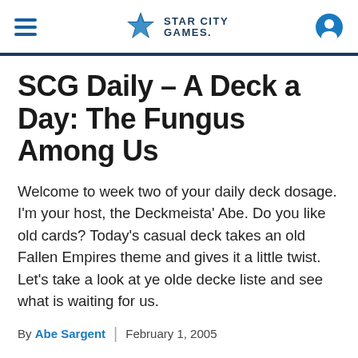Star City Games
SCG Daily – A Deck a Day: The Fungus Among Us
Welcome to week two of your daily deck dosage. I'm your host, the Deckmeista' Abe. Do you like old cards? Today's casual deck takes an old Fallen Empires theme and gives it a little twist. Let's take a look at ye olde decke liste and see what is waiting for us.
By Abe Sargent | February 1, 2005